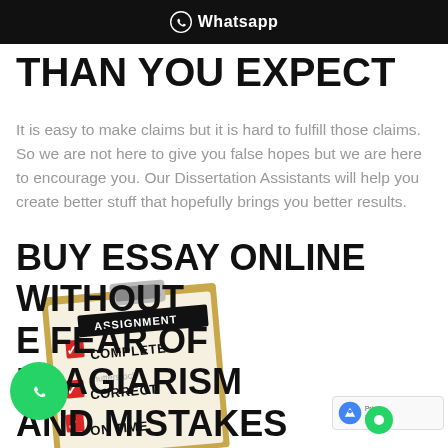Whatsapp
THAN YOU EXPECT
It is easy to make claims but it is hard to fulfill those claims. So we are not here to give you false hopes but we are here to encourage you. Our Dissertation Assistants will help you create better stuff that hopefully brings you better results.
[Figure (illustration): Clipboard with checklist showing ASSIGNMENT at top, with three checked items: COMPLETE, CORRECT, ON TIME. Red checkmarks next to each item. Shutterstock watermark visible.]
BUY ESSAY ONLINE WITHOUT THE FEAR OF PLAGIARISM AND MISTAKES